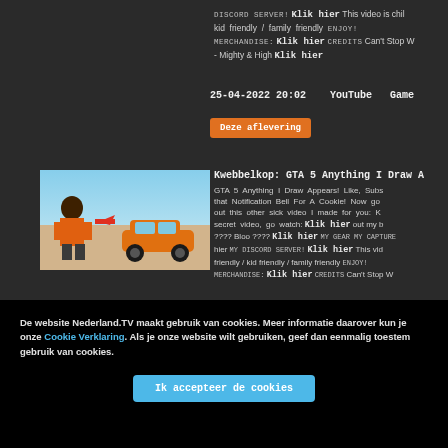DISCORD SERVER! Klik hier This video is child friendly / family friendly ENJOY! MERCHANDISE: Klik hier CREDITS Can't Stop W - Mighty & High Klik hier
25-04-2022 20:02   YouTube   Game
Deze aflevering
[Figure (screenshot): GTA 5 game screenshot showing a character in orange shirt and an orange sports car on a sandy terrain with blue sky]
Kwebbelkop: GTA 5 Anything I Draw A
GTA 5 Anything I Draw Appears! Like, Subscribe, that Notification Bell For A Cookie! Now go out this other sick video I made for you: K secret video, go watch: Klik hier out my b ???? Bloo ???? Klik hier MY GEAR My Capture hier MY DISCORD SERVER! Klik hier This vid friendly / kid friendly / family friendly ENJOY! MERCHANDISE: Klik hier CREDITS Can't Stop W
De website Nederland.TV maakt gebruik van cookies. Meer informatie daarover kun je vinden in onze Cookie Verklaring. Als je onze website wilt gebruiken, geef dan eenmalig toestemming voor het gebruik van cookies.
Ik accepteer de cookies